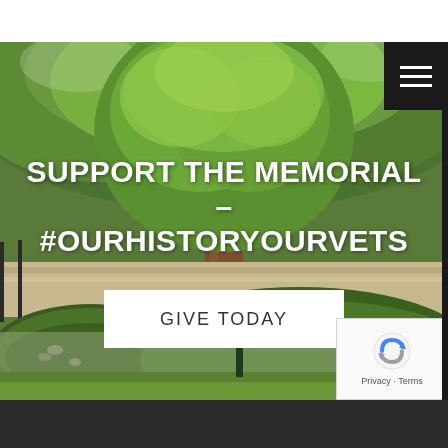[Figure (photo): Outdoor memorial park scene with large leafy green tree in center, circular garden bed with low groundcover plants, stone/concrete retaining wall in background, green lawn, and a small dark signpost near the tree trunk. Photo serves as hero background image.]
SUPPORT THE MEMORIAL - #OURHISTORYOURVETS
GIVE TODAY
[Figure (other): Google reCAPTCHA logo widget with blue and grey arrow icon, with Privacy and Terms links below.]